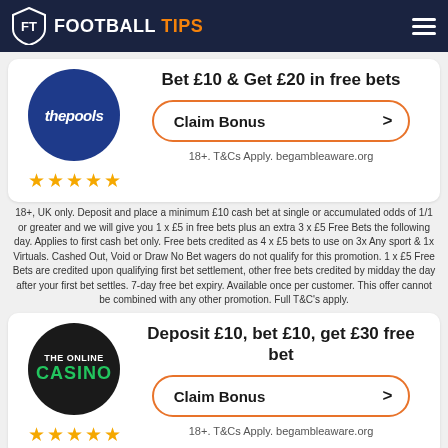FOOTBALL TIPS
Bet £10 & Get £20 in free bets
Claim Bonus
18+. T&Cs Apply. begambleaware.org
18+. UK only. Deposit and place a minimum £10 cash bet at single or accumulated odds of 1/1 or greater and we will give you 1 x £5 in free bets plus an extra 3 x £5 Free Bets the following day. Applies to first cash bet only. Free bets credited as 4 x £5 bets to use on 3x Any sport & 1x Virtuals. Cashed Out, Void or Draw No Bet wagers do not qualify for this promotion. 1 x £5 Free Bets are credited upon qualifying first bet settlement, other free bets credited by midday the day after your first bet settles. 7-day free bet expiry. Available once per customer. This offer cannot be combined with any other promotion. Full T&C's apply.
Deposit £10, bet £10, get £30 free bet
Claim Bonus
18+. T&Cs Apply. begambleaware.org